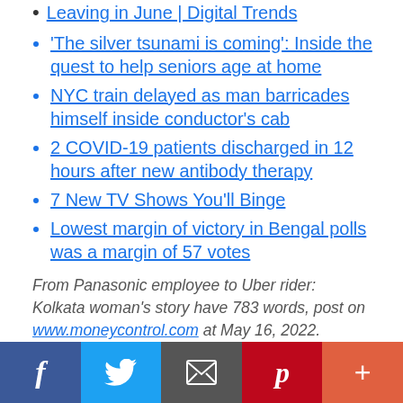Leaving in June | Digital Trends
‘The silver tsunami is coming’: Inside the quest to help seniors age at home
NYC train delayed as man barricades himself inside conductor’s cab
2 COVID-19 patients discharged in 12 hours after new antibody therapy
7 New TV Shows You'll Binge
Lowest margin of victory in Bengal polls was a margin of 57 votes
From Panasonic employee to Uber rider: Kolkata woman’s story have 783 words, post on www.moneycontrol.com at May 16, 2022.
Social share bar: Facebook, Twitter, Email, Pinterest, More